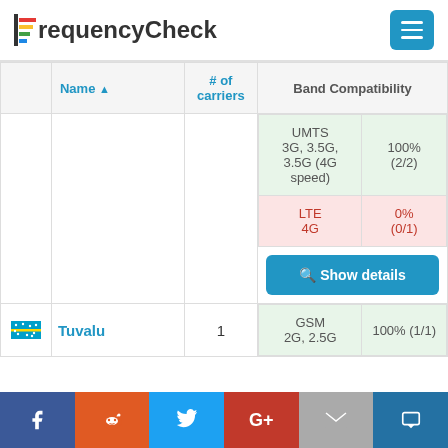FrequencyCheck
|  | Name ▲ | # of carriers | Band Compatibility |
| --- | --- | --- | --- |
|  |  |  | UMTS 3G, 3.5G, 3.5G (4G speed) | 100% (2/2) | LTE 4G | 0% (0/1) |
| [Tuvalu flag] | Tuvalu | 1 | GSM 2G, 2.5G | 100% (1/1) |
Facebook | Reddit | Twitter | Google+ | Email | Crown